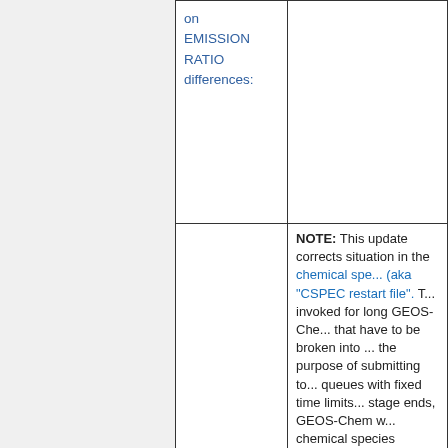|  | on
EMISSION
RATIO
differences: |  |
|  |  | NOTE: This update corrects situation in the chemical species (aka "CSPEC restart file". This is invoked for long GEOS-Chem simulations that have to be broken into stages for the purpose of submitting to batch queues with fixed time limits. When a stage ends, GEOS-Chem writes the chemical species concentrations to a file. When the next run stage begins, Chem will read the chemical species information back into the CS... gets passed to the SMVGE... solvers).

For short simulations that ca... |